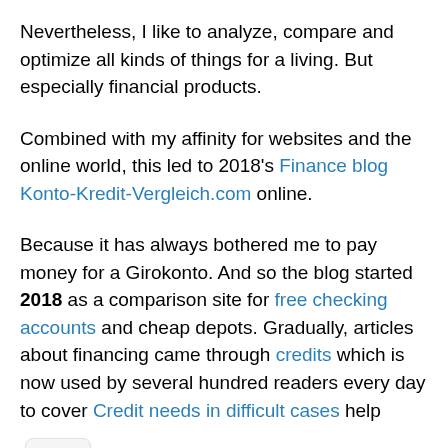Nevertheless, I like to analyze, compare and optimize all kinds of things for a living. But especially financial products.
Combined with my affinity for websites and the online world, this led to 2018's Finance blog Konto-Kredit-Vergleich.com online.
Because it has always bothered me to pay money for a Girokonto. And so the blog started 2018 as a comparison site for free checking accounts and cheap depots. Gradually, articles about financing came through credits which is now used by several hundred readers every day to cover Credit needs in difficult cases help
I [flag icon] tion, there are on Konto-Kredit-